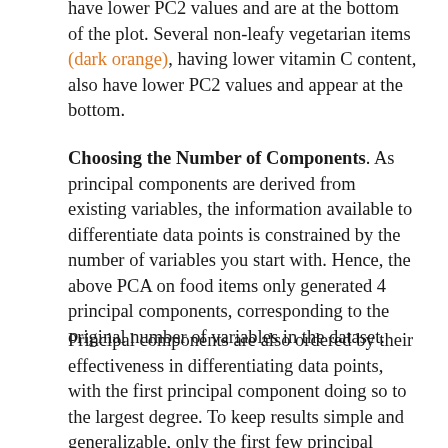have lower PC2 values and are at the bottom of the plot. Several non-leafy vegetarian items (dark orange), having lower vitamin C content, also have lower PC2 values and appear at the bottom.
Choosing the Number of Components. As principal components are derived from existing variables, the information available to differentiate data points is constrained by the number of variables you start with. Hence, the above PCA on food items only generated 4 principal components, corresponding to the original number of variables in the dataset.
Principal components are also ordered by their effectiveness in differentiating data points, with the first principal component doing so to the largest degree. To keep results simple and generalizable, only the first few principal components are selected for visualization and further analysis. The number of principal components to